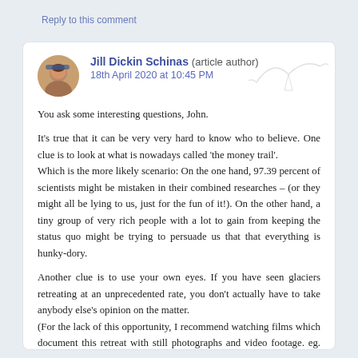Reply to this comment
Jill Dickin Schinas (article author)
18th April 2020 at 10:45 PM
You ask some interesting questions, John.
It's true that it can be very very hard to know who to believe. One clue is to look at what is nowadays called ‘the money trail’.
Which is the more likely scenario: On the one hand, 97.39 percent of scientists might be mistaken in their combined researches – (or they might all be lying to us, just for the fun of it!). On the other hand, a tiny group of very rich people with a lot to gain from keeping the status quo might be trying to persuade us that that everything is hunky-dory.
Another clue is to use your own eyes. If you have seen glaciers retreating at an unprecedented rate, you don’t actually have to take anybody else’s opinion on the matter.
(For the lack of this opportunity, I recommend watching films which document this retreat with still photographs and video footage. eg. Chasing Ice)